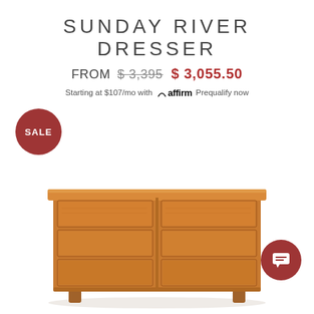SUNDAY RIVER DRESSER
FROM $3,395  $3,055.50
Starting at $107/mo with Affirm Prequalify now
[Figure (other): SALE badge - dark red circular badge with white text SALE]
[Figure (photo): Wood dresser with 6 drawers (3 per side), cherry wood finish, tapered legs, Sunday River Dresser product photo on white background]
[Figure (other): Chat button - dark red circular badge with white chat icon]